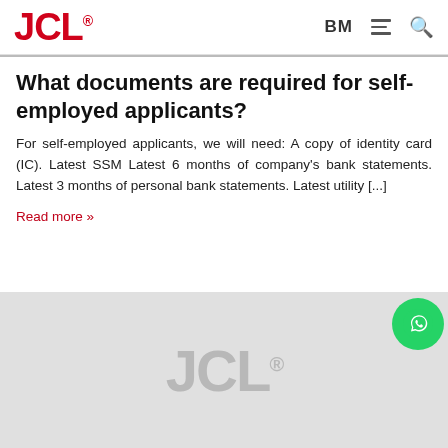JCL® BM
What documents are required for self-employed applicants?
For self-employed applicants, we will need: A copy of identity card (IC). Latest SSM Latest 6 months of company's bank statements. Latest 3 months of personal bank statements. Latest utility [...]
Read more »
[Figure (logo): Gray placeholder image area with JCL® watermark logo in light gray text on a gray background]